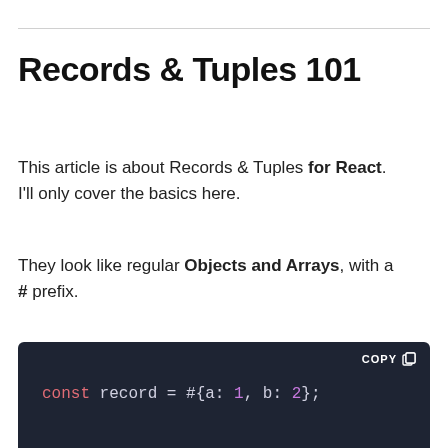Records & Tuples 101
This article is about Records & Tuples for React. I'll only cover the basics here.
They look like regular Objects and Arrays, with a # prefix.
[Figure (screenshot): Dark-themed code block showing: const record = #{a: 1, b: 2}; and record.a; with a COPY button. Syntax highlighted with pink keyword 'const' and purple numbers '1' and '2'.]